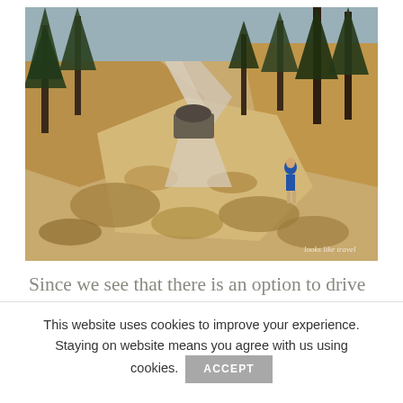[Figure (photo): Outdoor trail scene with pine trees, dry golden brush, rocky terrain, a winding path, and a person in a blue shirt walking on the trail. Watermark text 'looks like travel' visible in bottom right corner.]
Since we see that there is an option to drive even higher, we decide to do it. In a
This website uses cookies to improve your experience. Staying on website means you agree with us using cookies. ACCEPT